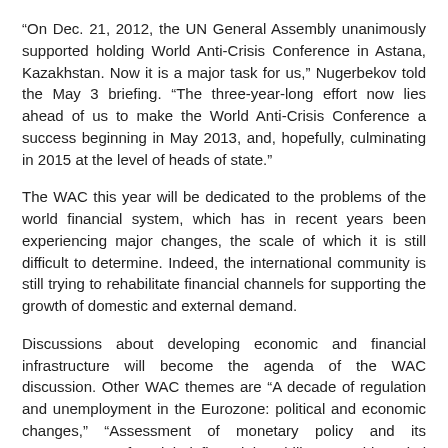“On Dec. 21, 2012, the UN General Assembly unanimously supported holding World Anti-Crisis Conference in Astana, Kazakhstan. Now it is a major task for us,” Nugerbekov told the May 3 briefing. “The three-year-long effort now lies ahead of us to make the World Anti-Crisis Conference a success beginning in May 2013, and, hopefully, culminating in 2015 at the level of heads of state.”
The WAC this year will be dedicated to the problems of the world financial system, which has in recent years been experiencing major changes, the scale of which it is still difficult to determine. Indeed, the international community is still trying to rehabilitate financial channels for supporting the growth of domestic and external demand.
Discussions about developing economic and financial infrastructure will become the agenda of the WAC discussion. Other WAC themes are “A decade of regulation and unemployment in the Eurozone: political and economic changes,” “Assessment of monetary policy and its consequences for global financial stability,” “World capital markets in transition: change in the financial landscape?” Roundtables on the themes “New world financial architecture,” “Adaptation to new realities of the world economy” and “Recovery of